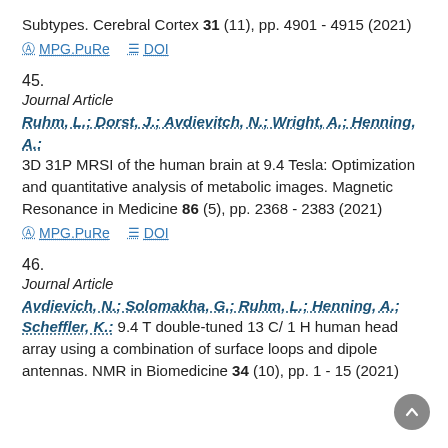Subtypes. Cerebral Cortex 31 (11), pp. 4901 - 4915 (2021)
MPG.PuRe   DOI
45.
Journal Article
Ruhm, L.; Dorst, J.; Avdievitch, N.; Wright, A.; Henning, A.: 3D 31P MRSI of the human brain at 9.4 Tesla: Optimization and quantitative analysis of metabolic images. Magnetic Resonance in Medicine 86 (5), pp. 2368 - 2383 (2021)
MPG.PuRe   DOI
46.
Journal Article
Avdievich, N.; Solomakha, G.; Ruhm, L.; Henning, A.; Scheffler, K.: 9.4 T double-tuned 13 C/ 1 H human head array using a combination of surface loops and dipole antennas. NMR in Biomedicine 34 (10), pp. 1 - 15 (2021)